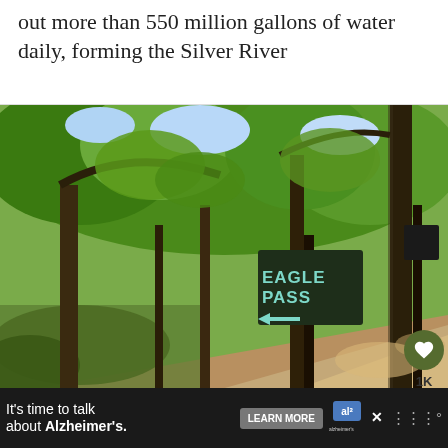out more than 550 million gallons of water daily, forming the Silver River
[Figure (photo): A trail junction in a green forested area with a dark brown wooden sign reading 'EAGLE PASS' with a left-pointing arrow, surrounded by dense trees and a dirt path.]
Silver Springs Conservation
It's time to talk about Alzheimer's.